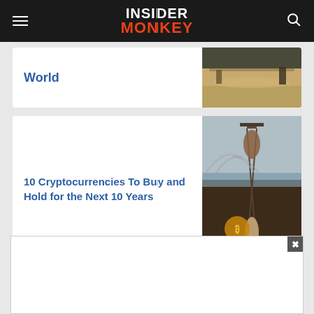INSIDER MONKEY
World
[Figure (photo): Partial article card showing 'World' text and a sandy road/track photo]
10 Cryptocurrencies To Buy and Hold for the Next 10 Years
[Figure (photo): Article thumbnail showing an hourglass on a rocky beach with a Bitcoin coin, cryptocurrency themed image]
5 Biggest Green Energy Companies
[Figure (photo): Article thumbnail showing solar panels on a roof with blue sky]
[Figure (other): Advertisement overlay banner at the bottom of the page with a close (x) button]